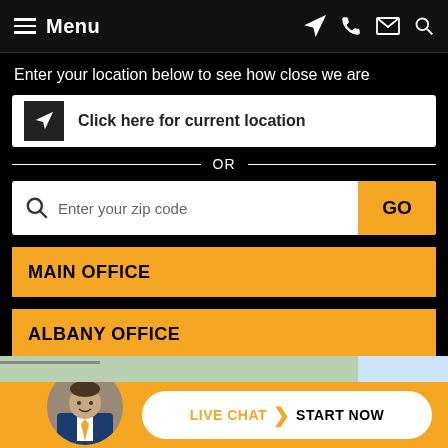Menu
Enter your location below to see how close we are
Click here for current location
OR
Enter your zip code
MAIN OFFICE
ALBANY OFFICE
LIVE CHAT START NOW